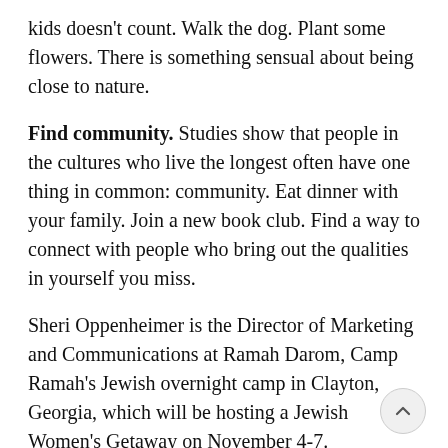kids doesn't count. Walk the dog. Plant some flowers. There is something sensual about being close to nature.
Find community. Studies show that people in the cultures who live the longest often have one thing in common: community. Eat dinner with your family. Join a new book club. Find a way to connect with people who bring out the qualities in yourself you miss.
Sheri Oppenheimer is the Director of Marketing and Communications at Ramah Darom, Camp Ramah's Jewish overnight camp in Clayton, Georgia, which will be hosting a Jewish Women's Getaway on November 4-7.